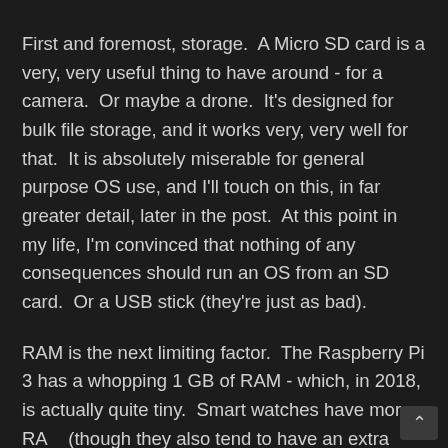First and foremost, storage.  A Micro SD card is a very, very useful thing to have around - for a camera.  Or maybe a drone.  It's designed for bulk file storage, and it works very, very well for that.  It is absolutely miserable for general purpose OS use, and I'll touch on this, in far greater detail, later in the post.  At this point in my life, I'm convinced that nothing of any consequences should run an OS from an SD card.  Or a USB stick (they're just as bad).
RAM is the next limiting factor.  The Raspberry Pi 3 has a whopping 1 GB of RAM - which, in 2018, is actually quite tiny.  Smart watches have more RAM (though they also tend to have an extra zero on the